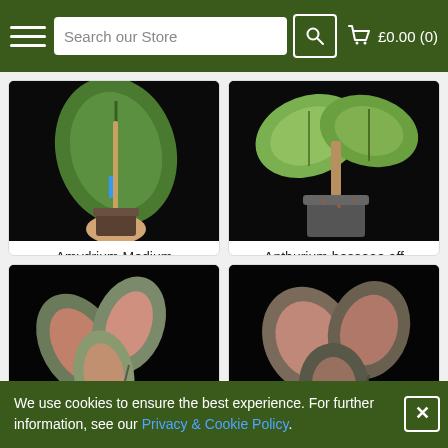Search our Store  £0.00 (0)
[Figure (photo): Plant product photo: Amydrium Medium in a small pot held by hand against black background]
Amydrium Medium
£22.99
[Figure (photo): Plant product photo: Anthurium besseae aff in a grey pot against black background]
Anthurium besseae aff
£89.99
[Figure (photo): Plant product photo: plant with pink and green leaves against black background (bottom left card)]
[Figure (photo): Plant product photo: plant with pink and green leaves against black background (bottom right card)]
We use cookies to ensure the best experience. For further information, see our Privacy & Cookie Policy.